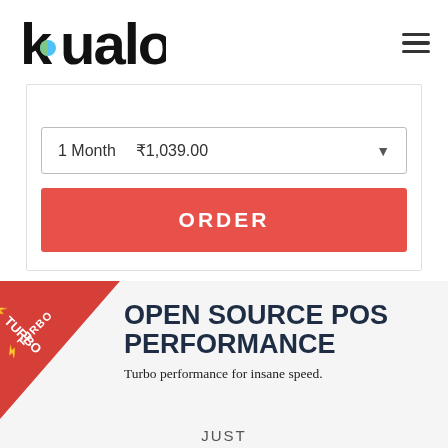[Figure (logo): Kualo logo — stylized lowercase wordmark in black with a colorful K letter (blue-green circle accent), top-left of navigation bar]
1 Month   ₹1,039.00
ORDER
[Figure (illustration): Red triangular corner badge with lightning bolt and 'TURBO' text written diagonally in white]
OPEN SOURCE POS PERFORMANCE
Turbo performance for insane speed.
JUST